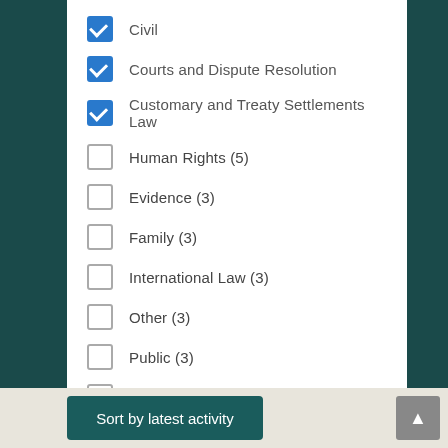Civil (checked)
Courts and Dispute Resolution (checked)
Customary and Treaty Settlements Law (checked)
Human Rights (5)
Evidence (3)
Family (3)
International Law (3)
Other (3)
Public (3)
Commercial (1)
Property/Trusts (1)
Social (1)
Sort by latest activity